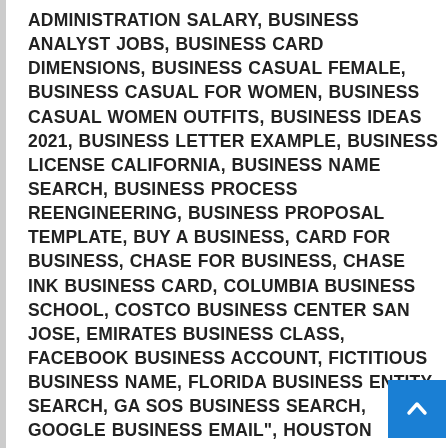ADMINISTRATION SALARY, BUSINESS ANALYST JOBS, BUSINESS CARD DIMENSIONS, BUSINESS CASUAL FEMALE, BUSINESS CASUAL FOR WOMEN, BUSINESS CASUAL WOMEN OUTFITS, BUSINESS IDEAS 2021, BUSINESS LETTER EXAMPLE, BUSINESS LICENSE CALIFORNIA, BUSINESS NAME SEARCH, BUSINESS PROCESS REENGINEERING, BUSINESS PROPOSAL TEMPLATE, BUY A BUSINESS, CARD FOR BUSINESS, CHASE FOR BUSINESS, CHASE INK BUSINESS CARD, COLUMBIA BUSINESS SCHOOL, COSTCO BUSINESS CENTER SAN JOSE, EMIRATES BUSINESS CLASS, FACEBOOK BUSINESS ACCOUNT, FICTITIOUS BUSINESS NAME, FLORIDA BUSINESS ENTITY SEARCH, GA SOS BUSINESS SEARCH, GOOGLE BUSINESS EMAIL", HOUSTON BUSINESS JOURNAL, ILLINOIS BUSINESS SEARCH, INSTAGRAM BUSINESS ACCOUNT, IS LULAROE STILL IN BUSINESS, LONDON BUSINESS SCHOOL, MASTER OF BUSINESS ADMINISTRATION, MEN'S BUSINESS CASUAL, PITTSBURGH BUSINESS TIMES, QUALIFIED BUSINESS INCOME DEDUCTION, SACRAMENTO BUSINESS JOURNAL, SECURED BUSINESS CREDIT CARD, STANDARD BUSINESS CARD SIZE, T MOBILE BUSINESS, TEXAS BUSINESS SEARCH, TIÉ³´O THE BUSINESS, TOP BUSINESS SCHOOLS IN US, TYPES OF BUSIN